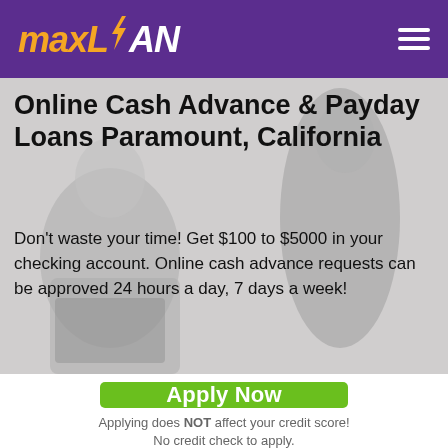maxLOAN
Online Cash Advance & Payday Loans Paramount, California
Don't waste your time! Get $100 to $5000 in your checking account. Online cash advance requests can be approved 24 hours a day, 7 days a week!
[Figure (other): Green Apply Now button]
Applying does NOT affect your credit score! No credit check to apply.